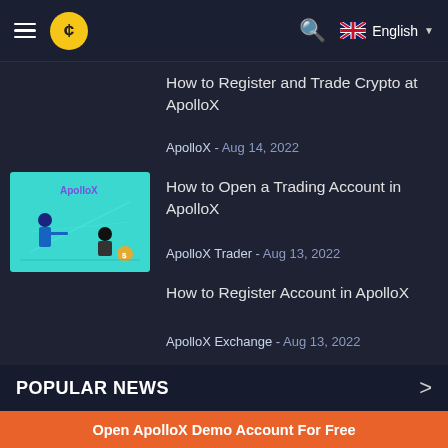ApolloX - English
How to Register and Trade Crypto at ApolloX
ApolloX - Aug 14, 2022
[Figure (illustration): ApolloX branded illustration showing two figures with crypto/trading imagery on a teal background]
How to Open a Trading Account in ApolloX
ApolloX Trader - Aug 13, 2022
How to Register Account in ApolloX
ApolloX Exchange - Aug 13, 2022
POPULAR NEWS
Open ApolloX Demo Account For Free